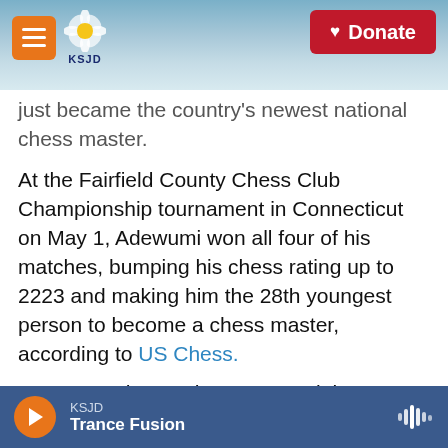KSJD — Donate
just became the country's newest national chess master.
At the Fairfield County Chess Club Championship tournament in Connecticut on May 1, Adewumi won all four of his matches, bumping his chess rating up to 2223 and making him the 28th youngest person to become a chess master, according to US Chess.
"I was very happy that I won and that I got the title," he says, "I really love that I finally got it."
"Finally" is after about three years — the amount of
KSJD — Trance Fusion